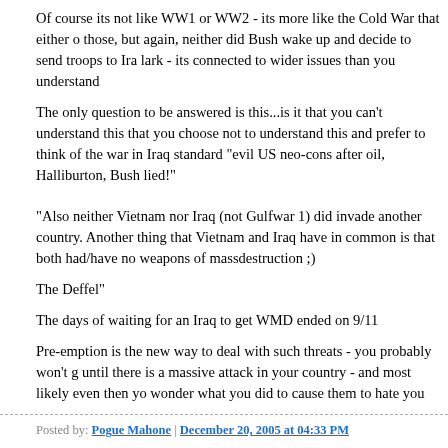Of course its not like WW1 or WW2 - its more like the Cold War that either of those, but again, neither did Bush wake up and decide to send troops to Iraq on a lark - its connected to wider issues than you understand
The only question to be answered is this...is it that you can't understand this or that you choose not to understand this and prefer to think of the war in Iraq standard "evil US neo-cons after oil, Halliburton, Bush lied!"
"Also neither Vietnam nor Iraq (not Gulfwar 1) did invade another country. Another thing that Vietnam and Iraq have in common is that both had/have no weapons of massdestruction ;)
The Deffel"
The days of waiting for an Iraq to get WMD ended on 9/11
Pre-emption is the new way to deal with such threats - you probably won't get until there is a massive attack in your country - and most likely even then you wonder what you did to cause them to hate you
Posted by: Pogue Mahone | December 20, 2005 at 04:33 PM
funny, I often think the Germans have problems with black and white thinking George Bush ist dumm und böse.. die Amis denken schwarz weiss.. und